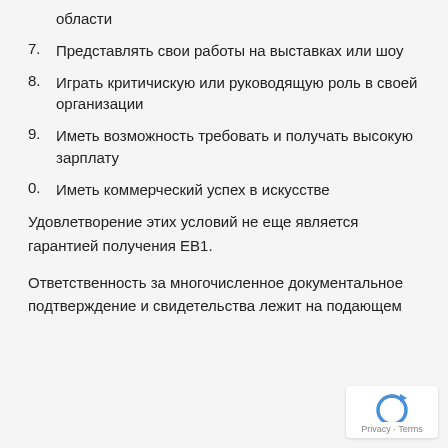области
7. Представлять свои работы на выставках или шоу
8. Играть критичискую или руководящую роль в своей организации
9. Иметь возможность требовать и получать высокую зарплату
0. Иметь коммерческий успех в искусстве
Удовлетворение этих условий не еще является гарантией получения EB1.
Ответственность за многочисленное документальное подтверждение и свидетельства лежит на подающем